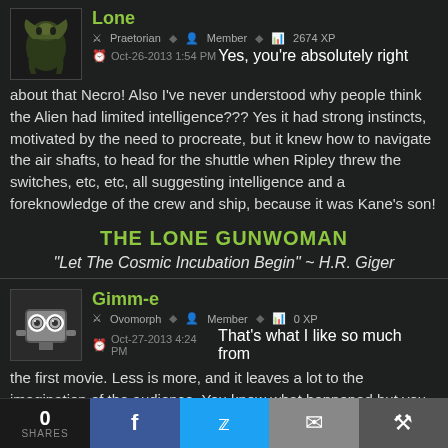[Figure (photo): Avatar image of user Lone showing a green alien creature]
Lone
Praetorian | Member | 2674 XP
Oct-26-2013 1:54 PM
Yes, you're absolutely right about that Necro! Also I've never understood why people think the Alien had limited intelligence??? Yes it had strong instincts, motivated by the need to procreate, but it knew how to navigate the air shafts, to head for the shuttle when Ripley threw the switches, etc, etc, all suggesting intelligence and a foreknowledge of the crew and ship, because it was Kane's son!
THE LONE GUNWOMAN
"Let The Cosmic Incubation Begin" ~ H.R. Giger
[Figure (photo): Avatar image of user Gimm-e showing a robot face]
Gimm-e
Ovomorph | Member | 0 XP
Oct-27-2013 4:24 PM
That's what I like so much from the first movie. Less is more, and it leaves a lot to the imagination of the audience. You know what happened but you can fill in the details for yourself. In prometheus it just